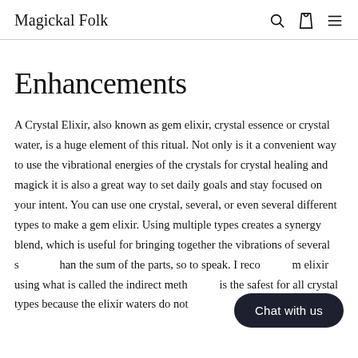Magickal Folk
Enhancements
A Crystal Elixir, also known as gem elixir, crystal essence or crystal water, is a huge element of this ritual. Not only is it a convenient way to use the vibrational energies of the crystals for crystal healing and magick it is also a great way to set daily goals and stay focused on your intent. You can use one crystal, several, or even several different types to make a gem elixir. Using multiple types creates a synergy blend, which is useful for bringing together the vibrations of several s...han the sum of the parts, so to speak. I reco...m elixir using what is called the indirect meth...is the safest for all crystal types because the elixir waters do not